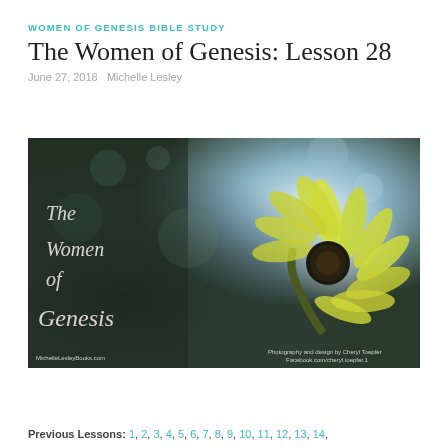WOMEN OF GENESIS BIBLE STUDY
The Women of Genesis: Lesson 28
June 27, 2018   Michelle Lesley
[Figure (photo): Dark bokeh background with a yellow daisy flower. Italic white script text reads 'The Women of Genesis'. Bottom left: MichelleLesleyBooks.com. Bottom right: Photography and design by Cheryl Toepfer / Facebook.com/cheryl.toepfer.1]
Previous Lessons: 1, 2, 3, 4, 5, 6, 7, 8, 9, 10, 11, 12, 13, 14,